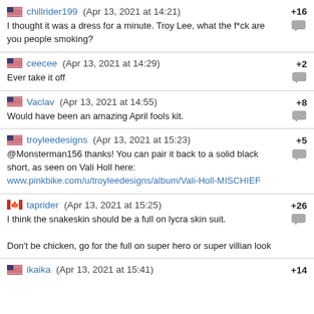chillrider199 (Apr 13, 2021 at 14:21) +16
I thought it was a dress for a minute. Troy Lee, what the f*ck are you people smoking?
ceecee (Apr 13, 2021 at 14:29) +2
Ever take it off
Vaclav (Apr 13, 2021 at 14:55) +8
Would have been an amazing April fools kit.
troyleedesigns (Apr 13, 2021 at 15:23) +5
@Monsterman156 thanks! You can pair it back to a solid black short, as seen on Vali Holl here:
www.pinkbike.com/u/troyleedesigns/album/Vali-Holl-MISCHIEF
taprider (Apr 13, 2021 at 15:25) +26
I think the snakeskin should be a full on lycra skin suit.

Don't be chicken, go for the full on super hero or super villian look
ikaika (Apr 13, 2021 at 15:41) +14